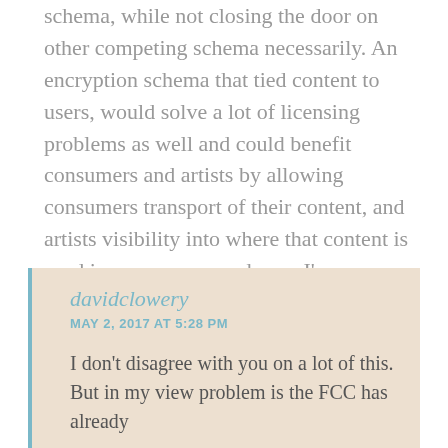schema, while not closing the door on other competing schema necessarily. An encryption schema that tied content to users, would solve a lot of licensing problems as well and could benefit consumers and artists by allowing consumers transport of their content, and artists visibility into where that content is used in a more nuanced way. I'm obviously oversimplifying, but the FCC has the power to enact sensible regulation, but handing the keys to access back to the ISPs isn't any more than answer now than it was every time we had to break up AT&T for anti-competitive action.
davidclowery
MAY 2, 2017 AT 5:28 PM
I don't disagree with you on a lot of this. But in my view problem is the FCC has already